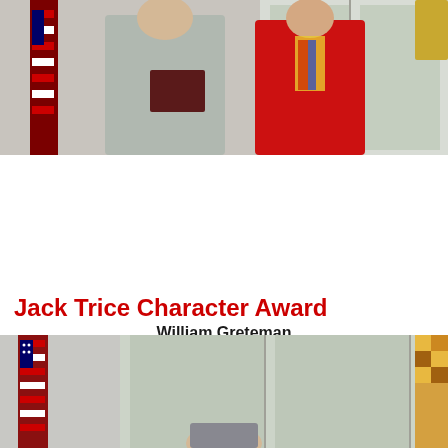[Figure (photo): Two people standing together indoors, one holding a dark folder/plaque, an American flag visible to the left, windows in the background. One person wearing a grey sweater, the other in a red coat with a colorful scarf.]
William Greteman
Sophomore studying Finance from West Des Moines, IA
Jack Trice Character Award
[Figure (photo): Indoor photo with an American flag on the left side, windows visible in the background, and a person visible at the bottom of the frame.]